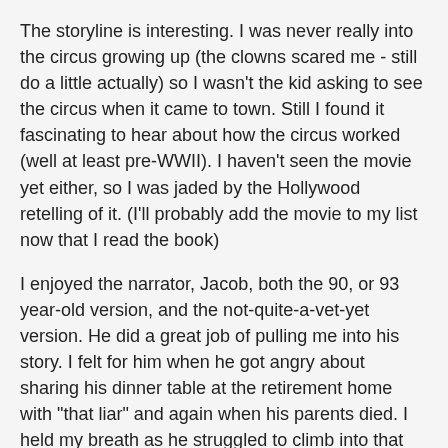The storyline is interesting. I was never really into the circus growing up (the clowns scared me - still do a little actually) so I wasn't the kid asking to see the circus when it came to town. Still I found it fascinating to hear about how the circus worked (well at least pre-WWII). I haven't seen the movie yet either, so I was jaded by the Hollywood retelling of it. (I'll probably add the movie to my list now that I read the book)
I enjoyed the narrator, Jacob, both the 90, or 93 year-old version, and the not-quite-a-vet-yet version. He did a great job of pulling me into his story. I felt for him when he got angry about sharing his dinner table at the retirement home with "that liar" and again when his parents died. I held my breath as he struggled to climb into that mystery train in the middle of night. My heart ached as he pinned over Marlena. I cringed as he worried about what August would do to poor Rosie.
Most of the characters were fun, and just embellished enough for me to picture what they would be like if I were to meet them on the street. (I hope the movie did that justice) I could hear the sounds of the circus being put up, the